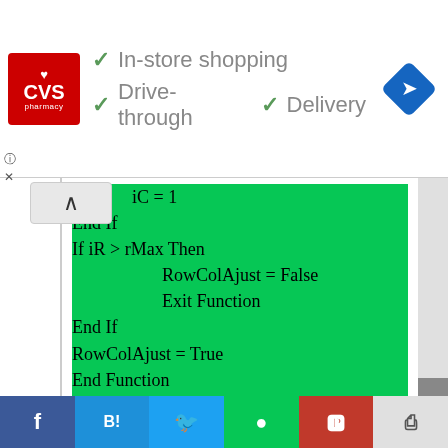[Figure (screenshot): CVS Pharmacy advertisement banner with logo, checkmarks for In-store shopping, Drive-through, and Delivery, and a navigation icon]
iC = 1
End If
If iR > rMax Then
    RowColAjust = False
    Exit Function
End If
RowColAjust = True
End Function

Private Function chkEnd(ByVal iR As Integer, ByVal iC As Integer) As Boolean
    Dim iR2 As Integer
    Dim iC2 As Integer
    Call getEnd(iR2, iC2, SuAry(iR, iC))
    If iR2 = iR And iC2 = iC Then
[Figure (screenshot): Social sharing bar with Facebook, Hatena Bookmark, Twitter, LINE, Pocket, and share buttons]